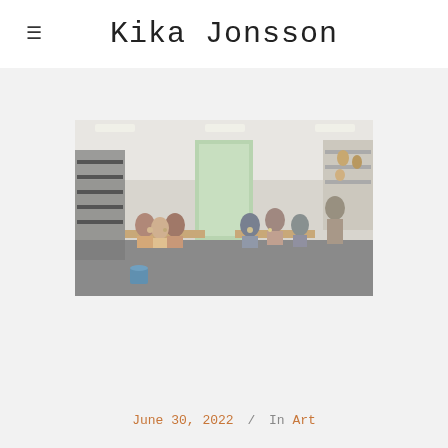Kika Jonsson
[Figure (photo): Panoramic photo of a pottery/ceramics studio with multiple people sitting at tables working with clay. The bright white studio has shelving with ceramics, a glass door letting in natural light, and various pottery wheels and supplies visible throughout the space.]
June 30, 2022  /  In Art